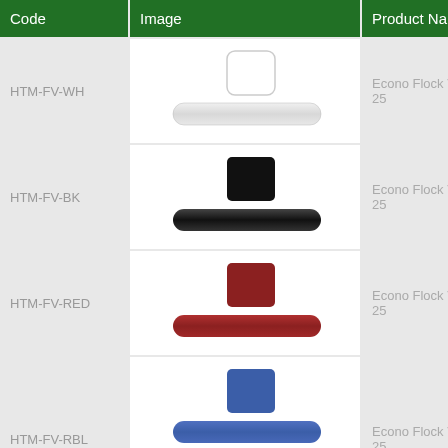| Code | Image | Product Name |
| --- | --- | --- |
| HTM-FV-WH | [white swatch + roll] | Econo Flock Vinyl Rolls 25 |
| HTM-FV-BK | [black swatch + roll] | Econo Flock Vinyl Rolls 25 |
| HTM-FV-RED | [red swatch + roll] | Econo Flock Vinyl Rolls 25 |
| HTM-FV-RBL | [blue swatch + roll] | Econo Flock Vinyl Rolls 25 |
|  | [yellow swatch partial] |  |